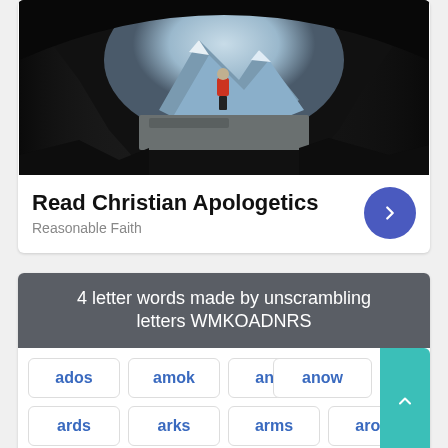[Figure (photo): A person in a red jacket standing at the entrance of a cave looking out at mountain peaks and glaciers]
Read Christian Apologetics
Reasonable Faith
4 letter words made by unscrambling letters WMKOADNRS
ados
amok
ands
anow
ards
arks
arms
arow